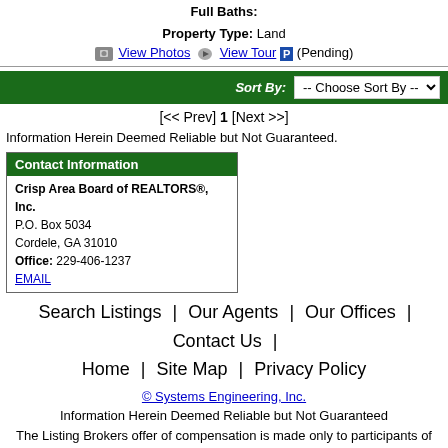Full Baths:
Property Type: Land
View Photos  View Tour  (Pending)
Sort By: -- Choose Sort By --
[<< Prev] 1 [Next >>]
Information Herein Deemed Reliable but Not Guaranteed.
| Contact Information |
| --- |
| Crisp Area Board of REALTORS®, Inc. |
| P.O. Box 5034 |
| Cordele, GA 31010 |
| Office: 229-406-1237 |
| EMAIL |
Search Listings | Our Agents | Our Offices | Contact Us | Home | Site Map | Privacy Policy
© Systems Engineering, Inc.
Information Herein Deemed Reliable but Not Guaranteed
The Listing Brokers offer of compensation is made only to participants of the MLS where the listing is filed.